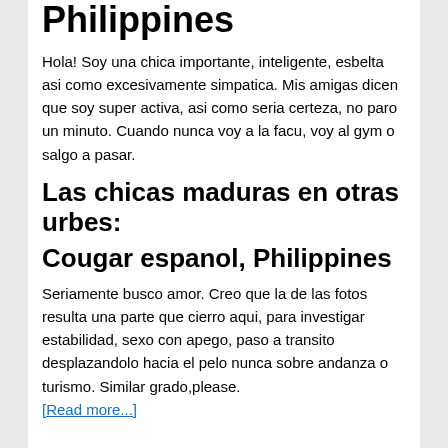Philippines
Hola! Soy una chica importante, inteligente, esbelta asi como excesivamente simpatica. Mis amigas dicen que soy super activa, asi como seria certeza, no paro un minuto. Cuando nunca voy a la facu, voy al gym o salgo a pasar.
Las chicas maduras en otras urbes:
Cougar espanol, Philippines
Seriamente busco amor. Creo que la de las fotos resulta una parte que cierro aqui, para investigar estabilidad, sexo con apego, paso a transito desplazandolo hacia el pelo nunca sobre andanza o turismo. Similar grado,please.
[Read more...]